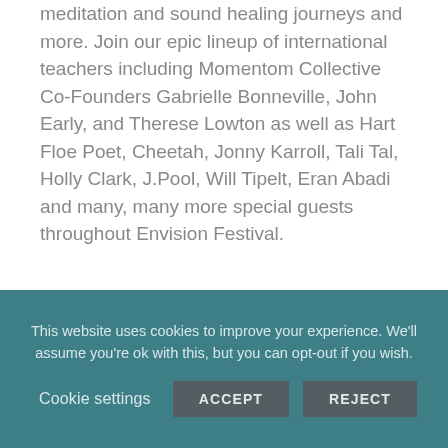meditation and sound healing journeys and more. Join our epic lineup of international teachers including Momentom Collective Co-Founders Gabrielle Bonneville, John Early, and Therese Lowton as well as Hart Floe Poet, Cheetah, Jonny Karroll, Tali Tal, Holly Clark, J.Pool, Will Tipelt, Eran Abadi and many, many more special guests throughout Envision Festival.
This website uses cookies to improve your experience. We'll assume you're ok with this, but you can opt-out if you wish.
Cookie settings  ACCEPT  REJECT